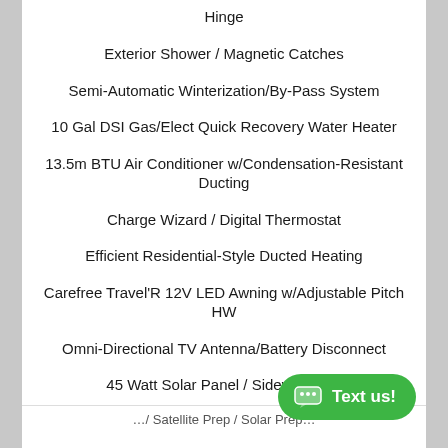Hinge
Exterior Shower / Magnetic Catches
Semi-Automatic Winterization/By-Pass System
10 Gal DSI Gas/Elect Quick Recovery Water Heater
13.5m BTU Air Conditioner w/Condensation-Resistant Ducting
Charge Wizard / Digital Thermostat
Efficient Residential-Style Ducted Heating
Carefree Travel'R 12V LED Awning w/Adjustable Pitch HW
Omni-Directional TV Antenna/Battery Disconnect
45 Watt Solar Panel / Sidewall Sola…
…/ Satellite Prep / Solar Prep…